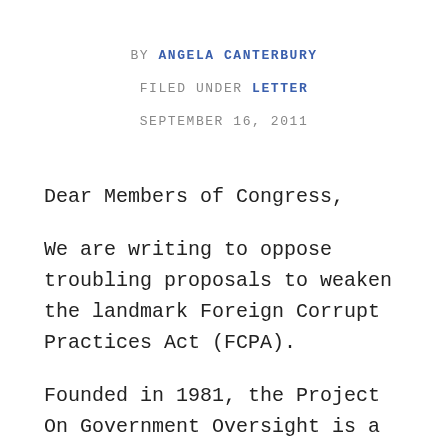BY ANGELA CANTERBURY
FILED UNDER LETTER
SEPTEMBER 16, 2011
Dear Members of Congress,
We are writing to oppose troubling proposals to weaken the landmark Foreign Corrupt Practices Act (FCPA).
Founded in 1981, the Project On Government Oversight is a nonpartisan